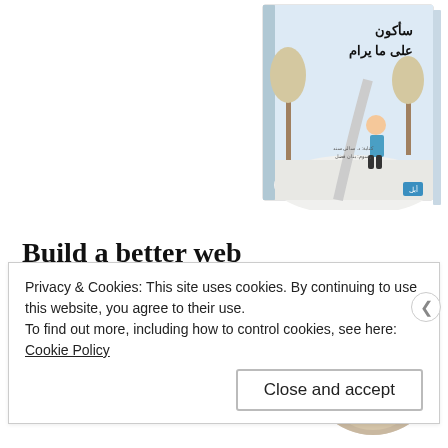[Figure (illustration): Book cover with Arabic title سأكون على ما يرام, illustrated children's book showing a child walking in a snowy landscape with bare trees]
Build a better web and a better world.
[Figure (photo): Circular cropped photo of a man with beard looking upward thoughtfully, wearing a beige shirt, on a light grey background]
Privacy & Cookies: This site uses cookies. By continuing to use this website, you agree to their use.
To find out more, including how to control cookies, see here: Cookie Policy
Close and accept